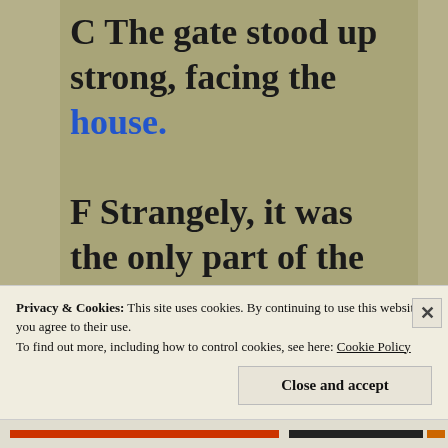C The gate stood up strong, facing the house. F Strangely, it was the only part of the fence that fought the rust. B Meg imagined running through the gate to find new
Privacy & Cookies: This site uses cookies. By continuing to use this website, you agree to their use. To find out more, including how to control cookies, see here: Cookie Policy